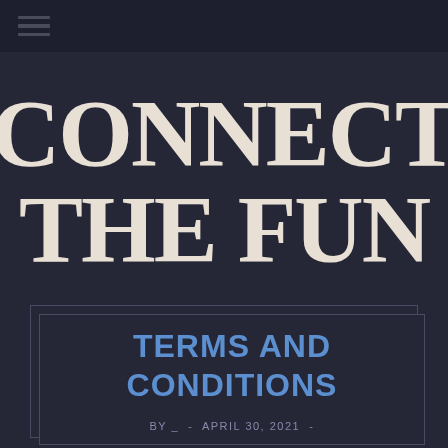CONNECT THE FUN
TERMS AND CONDITIONS
by _ - APRIL 30, 2021 -